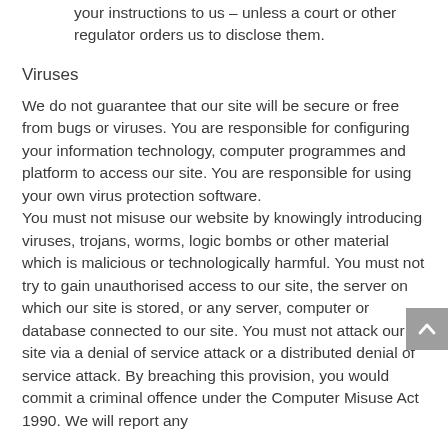your instructions to us – unless a court or other regulator orders us to disclose them.
Viruses
We do not guarantee that our site will be secure or free from bugs or viruses. You are responsible for configuring your information technology, computer programmes and platform to access our site. You are responsible for using your own virus protection software.
You must not misuse our website by knowingly introducing viruses, trojans, worms, logic bombs or other material which is malicious or technologically harmful. You must not try to gain unauthorised access to our site, the server on which our site is stored, or any server, computer or database connected to our site. You must not attack our site via a denial of service attack or a distributed denial of service attack. By breaching this provision, you would commit a criminal offence under the Computer Misuse Act 1990. We will report any